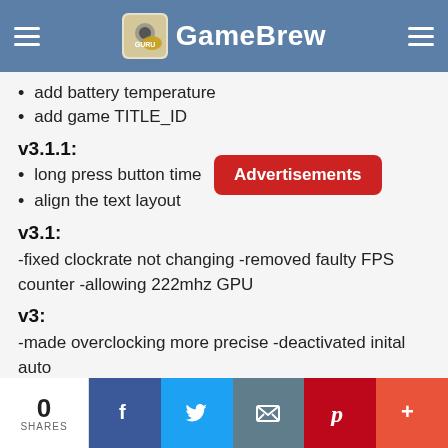GameBrew
add battery temperature
add game TITLE_ID
v3.1.1:
long press button time
align the text layout
v3.1:
-fixed clockrate not changing -removed faulty FPS counter -allowing 222mhz GPU
v3:
-made overclocking more precise -deactivated inital auto
0 SHARES | Facebook | Twitter | Email | Pinterest | More